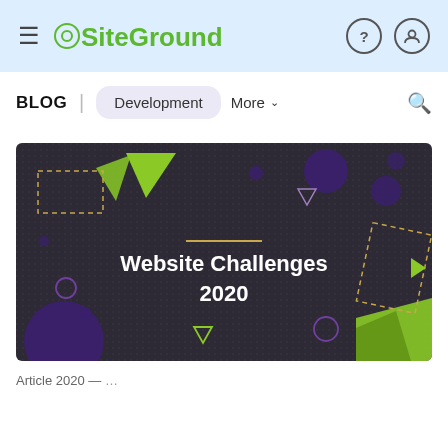SiteGround navigation header
BLOG | Development More ∨
[Figure (illustration): Dark decorative banner with geometric shapes in purple and green, containing the text 'Website Challenges 2020']
Article 2020 subtitle partial text